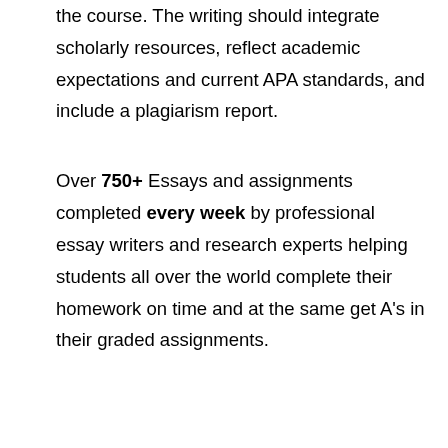the course. The writing should integrate scholarly resources, reflect academic expectations and current APA standards, and include a plagiarism report.
Over 750+ Essays and assignments completed every week by professional essay writers and research experts helping students all over the world complete their homework on time and at the same get A's in their graded assignments.